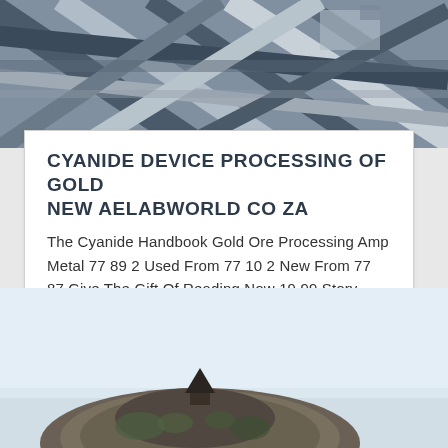[Figure (photo): Aerial/overhead view of steel construction beams or industrial structure with blue-grey tones]
CYANIDE DEVICE PROCESSING OF GOLD NEW AELABWORLD CO ZA
The Cyanide Handbook Gold Ore Processing Amp Metal 77 89 2 Used From 77 10 2 New From 77 87 Give The Gift Of Reading Now 19 99 Story Time Just Got Better With Prime Book Box A Subscription That Delivers Hand Picked Children s Books From 16 99 Edition At 20 Off
[Figure (photo): Landscape photo with light blue sky and dark rocky hill or mound with some structure or building visible]